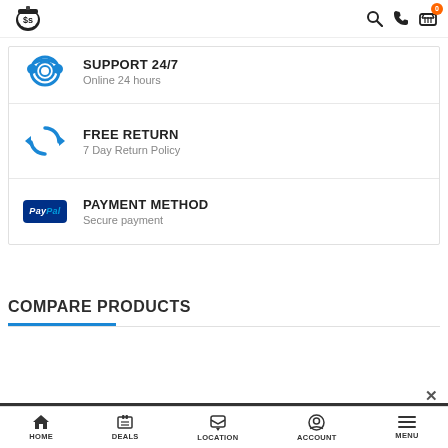Logo | Search | Phone | Cart (0)
SUPPORT 24/7
Online 24 hours
FREE RETURN
7 Day Return Policy
PAYMENT METHOD
Secure payment
COMPARE PRODUCTS
HOME | DEALS | LOCATION | ACCOUNT | MENU